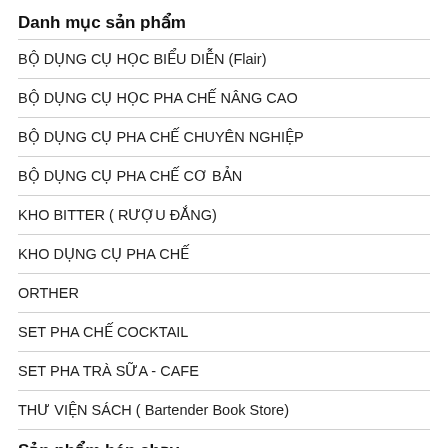Danh mục sản phẩm
BỘ DỤNG CỤ HỌC BIỂU DIỄN (Flair)
BỘ DỤNG CỤ HỌC PHA CHẾ NÂNG CAO
BỘ DỤNG CỤ PHA CHẾ CHUYÊN NGHIỆP
BỘ DỤNG CỤ PHA CHẾ CƠ BẢN
KHO BITTER ( RƯỢU ĐẮNG)
KHO DỤNG CỤ PHA CHẾ
ORTHER
SET PHA CHẾ COCKTAIL
SET PHA TRÀ SỮA - CAFE
THƯ VIỆN SÁCH ( Bartender Book Store)
Sản phẩm bán chạy